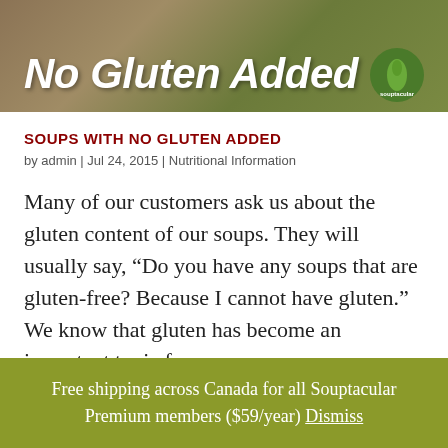[Figure (photo): Banner image with olive/brown background and text 'No Gluten Added' in white italic bold font with a circular logo on the right]
SOUPS WITH NO GLUTEN ADDED
by admin | Jul 24, 2015 | Nutritional Information
Many of our customers ask us about the gluten content of our soups. They will usually say, “Do you have any soups that are gluten-free? Because I cannot have gluten.” We know that gluten has become an important topic for many
Free shipping across Canada for all Souptacular Premium members ($59/year) Dismiss